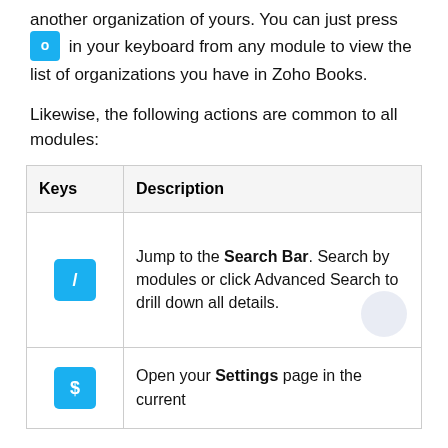another organization of yours. You can just press o in your keyboard from any module to view the list of organizations you have in Zoho Books.
Likewise, the following actions are common to all modules:
| Keys | Description |
| --- | --- |
| / | Jump to the Search Bar. Search by modules or click Advanced Search to drill down all details. |
| $ | Open your Settings page in the current |